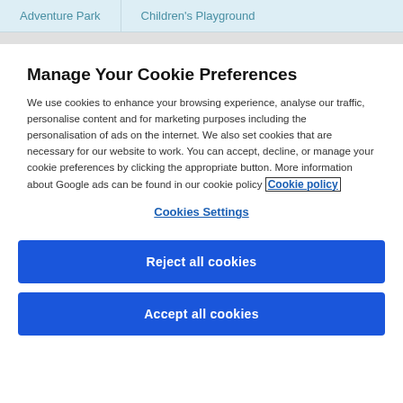Adventure Park | Children's Playground
Manage Your Cookie Preferences
We use cookies to enhance your browsing experience, analyse our traffic, personalise content and for marketing purposes including the personalisation of ads on the internet. We also set cookies that are necessary for our website to work. You can accept, decline, or manage your cookie preferences by clicking the appropriate button. More information about Google ads can be found in our cookie policy Cookie policy
Cookies Settings
Reject all cookies
Accept all cookies